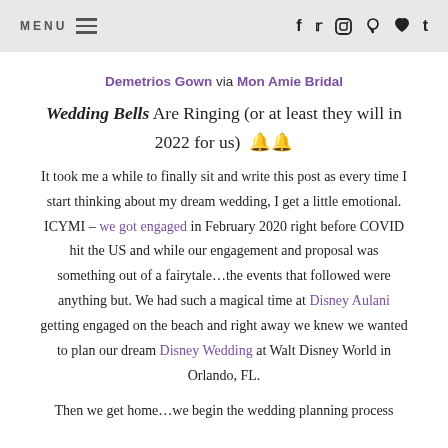MENU  ≡  f  t  [instagram]  [pinterest]  [heart]  t
Demetrios Gown via Mon Amie Bridal
Wedding Bells Are Ringing (or at least they will in 2022 for us) 🔔🔔
It took me a while to finally sit and write this post as every time I start thinking about my dream wedding, I get a little emotional. ICYMI – we got engaged in February 2020 right before COVID hit the US and while our engagement and proposal was something out of a fairytale…the events that followed were anything but. We had such a magical time at Disney Aulani getting engaged on the beach and right away we knew we wanted to plan our dream Disney Wedding at Walt Disney World in Orlando, FL.
Then we get home…we begin the wedding planning process